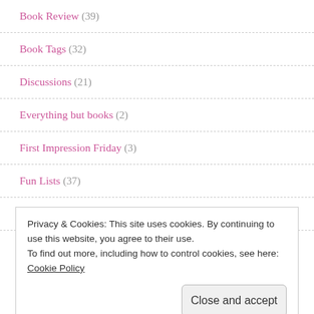Book Review (39)
Book Tags (32)
Discussions (21)
Everything but books (2)
First Impression Friday (3)
Fun Lists (37)
Lost In Translation (9)
Privacy & Cookies: This site uses cookies. By continuing to use this website, you agree to their use. To find out more, including how to control cookies, see here: Cookie Policy
Close and accept